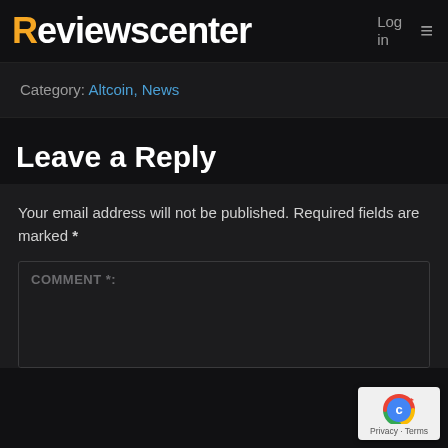Reviewscenter  Log in  ≡
Category: Altcoin, News
Leave a Reply
Your email address will not be published. Required fields are marked *
COMMENT *:
[Figure (logo): reCAPTCHA badge with Privacy and Terms links]